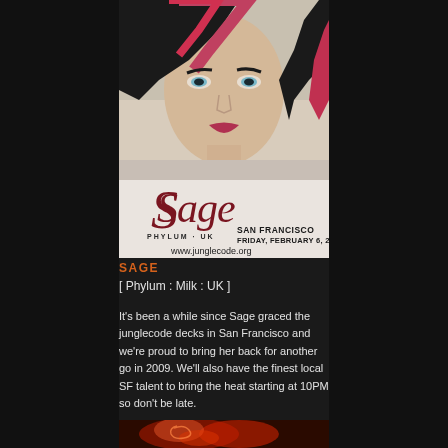[Figure (photo): Promotional poster for Sage (Phylum, UK) performing in San Francisco on Friday, February 6, 2009. Features a close-up photo of a woman with black and red hair, with the stylized text 'Sage', 'PHYLUM · UK', 'SAN FRANCISCO FRIDAY, FEBRUARY 6, 2009', and 'www.junglecode.org']
SAGE
[ Phylum : Milk : UK ]
It's been a while since Sage graced the junglecode decks in San Francisco and we're proud to bring her back for another go in 2009. We'll also have the finest local SF talent to bring the heat starting at 10PM so don't be late.
[Figure (photo): Partial bottom image showing a reddish/orange artistic photo, partially cut off]